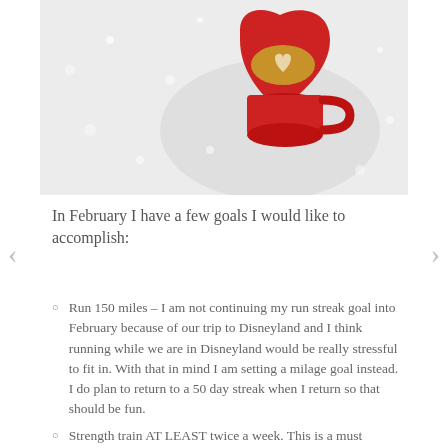[Figure (photo): Overhead photo of a red heart-shaped mug filled with coffee/latte with cream art, resting on white snowy surface with snowflake bokeh]
In February I have a few goals I would like to accomplish:
Run 150 miles – I am not continuing my run streak goal into February because of our trip to Disneyland and I think running while we are in Disneyland would be really stressful to fit in. With that in mind I am setting a milage goal instead. I do plan to return to a 50 day streak when I return so that should be fun.
Strength train AT LEAST twice a week. This is a must